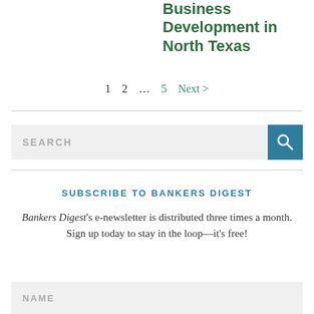President of Business Development in North Texas
1   2   …   5   Next >
[Figure (other): Search input box with teal search button and magnifying glass icon]
SUBSCRIBE TO BANKERS DIGEST
Bankers Digest's e-newsletter is distributed three times a month. Sign up today to stay in the loop—it's free!
NAME